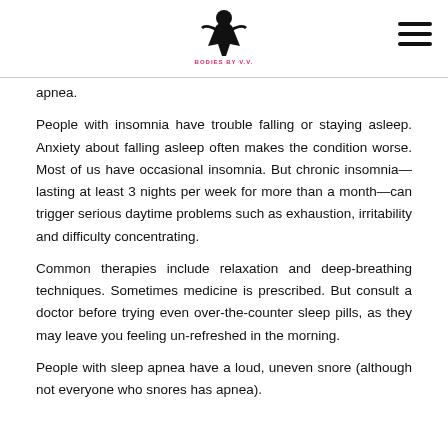Bodies By V.V. Veronica Vargas [logo]
apnea.
People with insomnia have trouble falling or staying asleep. Anxiety about falling asleep often makes the condition worse. Most of us have occasional insomnia. But chronic insomnia—lasting at least 3 nights per week for more than a month—can trigger serious daytime problems such as exhaustion, irritability and difficulty concentrating.
Common therapies include relaxation and deep-breathing techniques. Sometimes medicine is prescribed. But consult a doctor before trying even over-the-counter sleep pills, as they may leave you feeling un-refreshed in the morning.
People with sleep apnea have a loud, uneven snore (although not everyone who snores has apnea).